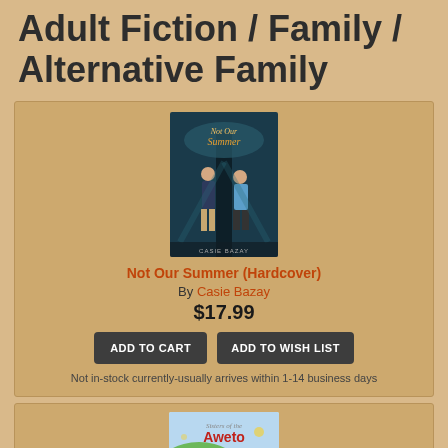Adult Fiction / Family / Alternative Family
[Figure (illustration): Book cover of 'Not Our Summer' showing two teenagers standing back to back against a tree, with teal/dark background and the title in decorative script. Author name Casie Bazay at bottom.]
Not Our Summer (Hardcover)
By Casie Bazay
$17.99
ADD TO CART
ADD TO WISH LIST
Not in-stock currently-usually arrives within 1-14 business days
[Figure (illustration): Book cover of 'Sisters of the Aweto: The Heat Is On' showing a fantasy/adventure scene with colorful illustrated characters.]